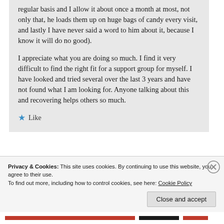regular basis and I allow it about once a month at most, not only that, he loads them up on huge bags of candy every visit, and lastly I have never said a word to him about it, because I know it will do no good).
I appreciate what you are doing so much. I find it very difficult to find the right fit for a support group for myself. I have looked and tried several over the last 3 years and have not found what I am looking for. Anyone talking about this and recovering helps others so much.
Like
Privacy & Cookies: This site uses cookies. By continuing to use this website, you agree to their use.
To find out more, including how to control cookies, see here: Cookie Policy